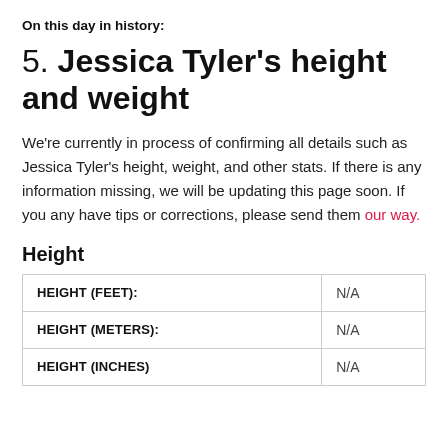On this day in history:
5. Jessica Tyler's height and weight
We're currently in process of confirming all details such as Jessica Tyler's height, weight, and other stats. If there is any information missing, we will be updating this page soon. If you any have tips or corrections, please send them our way.
Height
|  |  |
| --- | --- |
| HEIGHT (FEET): | N/A |
| HEIGHT (METERS): | N/A |
| HEIGHT (INCHES) | N/A |